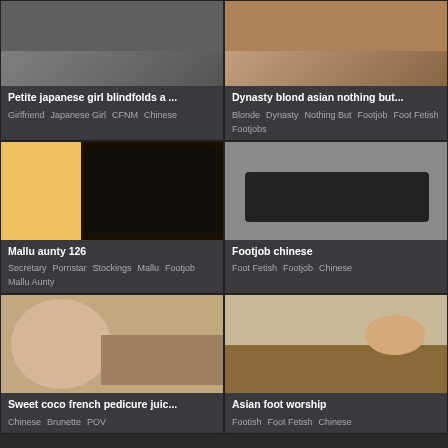[Figure (photo): Thumbnail image for Petite japanese girl blindfolds a...]
Petite japanese girl blindfolds a ...
Girlfriend   Japanese Girl   CFNM   Chinese
[Figure (photo): Thumbnail image for Dynasty blond asian nothing but...]
Dynasty blond asian nothing but...
Blonde   Dynasty   Nothing But   Footjob   Foot Fetish   Footjobs
[Figure (photo): Thumbnail image for Mallu aunty 126]
Mallu aunty 126
Secretary   Pornstar   Stockings   Mallu   Footjob   Mallu Aunty
[Figure (photo): Thumbnail image for Footjob chinese]
Footjob chinese
Foot Fetish   Footjob   Chinese
[Figure (photo): Thumbnail image for Sweet coco french pedicure juic...]
Sweet coco french pedicure juic...
Chinese   Brunette   POV
[Figure (photo): Thumbnail image for Asian foot worship]
Asian foot worship
Footish   Foot Fetish   Chinese